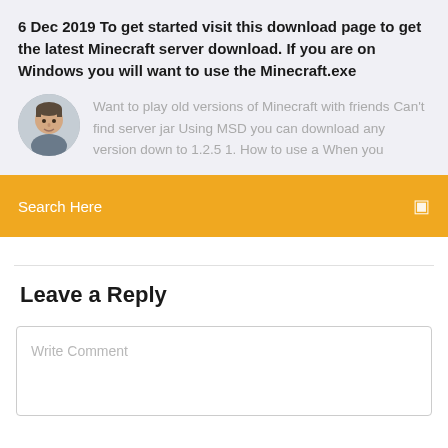6 Dec 2019 To get started visit this download page to get the latest Minecraft server download. If you are on Windows you will want to use the Minecraft.exe
[Figure (photo): Round avatar photo of a man]
Want to play old versions of Minecraft with friends Can't find server jar Using MSD you can download any version down to 1.2.5 1. How to use a When you
Search Here
Leave a Reply
Write Comment